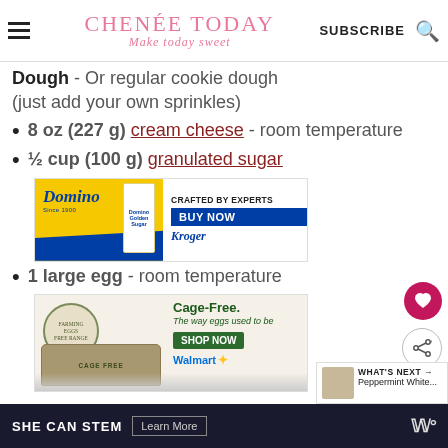CHENÉE TODAY — Make today sweet | SUBSCRIBE
Dough - Or regular cookie dough (just add your own sprinkles)
8 oz (227 g) cream cheese - room temperature
½ cup (100 g) granulated sugar
[Figure (photo): Domino Golden Sugar advertisement: yellow and blue background with Domino bag, 'CRAFTED BY EXPERTS', 'BUY NOW' button, Kroger logo]
1 large egg - room temperature
[Figure (photo): Cage-Free eggs advertisement: carton of eggs, badge, 'Cage-Free. The way eggs used to be.' text, SHOP NOW button, Walmart logo]
SHE CAN STEM  Learn More